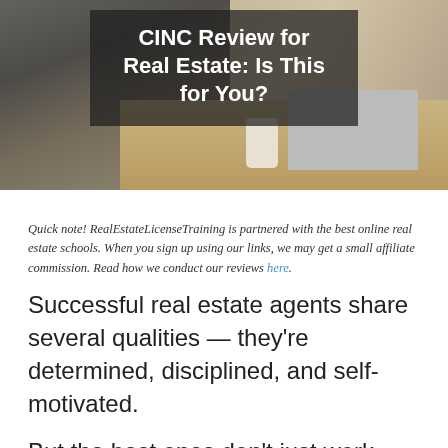[Figure (photo): Person sitting at a wooden desk working on a laptop computer, with a coffee cup nearby. Dark overlay banner with white title text: 'CINC Review for Real Estate: Is This for You?']
Quick note! RealEstateLicenseTraining is partnered with the best online real estate schools. When you sign up using our links, we may get a small affiliate commission. Read how we conduct our reviews here.
Successful real estate agents share several qualities — they're determined, disciplined, and self-motivated.
But the best ones don't just work tirelessly, they also work smart — and they use all possible